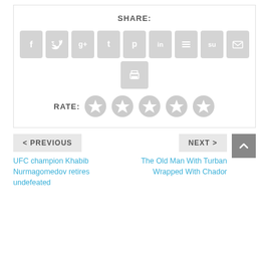[Figure (infographic): Social share buttons row with icons: Facebook, Twitter, Google+, Tumblr, Pinterest, LinkedIn, Buffer, StumbleUpon, Email, and a print button below]
SHARE:
[Figure (infographic): 5 grey star rating circles labeled RATE:]
RATE:
< PREVIOUS
NEXT >
UFC champion Khabib Nurmagomedov retires undefeated
The Old Man With Turban Wrapped With Chador